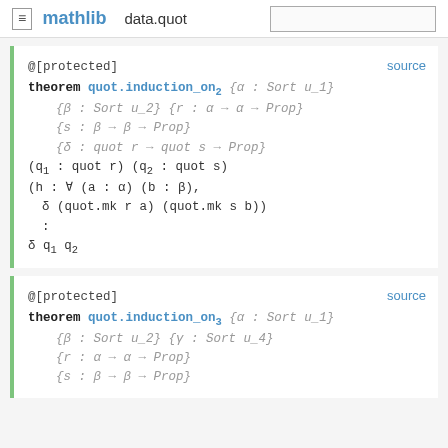mathlib   data.quot
@[protected]
theorem quot.induction_on₂ {α : Sort u_1} {β : Sort u_2} {r : α → α → Prop} {s : β → β → Prop} {δ : quot r → quot s → Prop} (q₁ : quot r) (q₂ : quot s) (h : ∀ (a : α) (b : β), δ (quot.mk r a) (quot.mk s b)) : δ q₁ q₂
@[protected]
theorem quot.induction_on₃ {α : Sort u_1} {β : Sort u_2} {γ : Sort u_4} {r : α → α → Prop} {s : β → β → Prop}